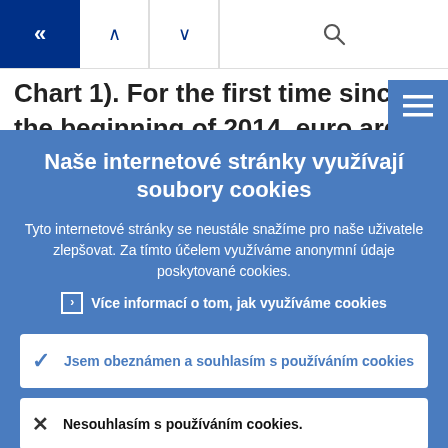Navigation bar with back button, up/down arrows, and search icon
Chart 1). For the first time since the beginning of 2014, euro area SMEs
Naše internetové stránky využívají soubory cookies
Tyto internetové stránky se neustále snažíme pro naše uživatele zlepšovat. Za tímto účelem využíváme anonymní údaje poskytované cookies.
Více informací o tom, jak využíváme cookies
Jsem obeznámen a souhlasím s používáním cookies
Nesouhlasím s používáním cookies.